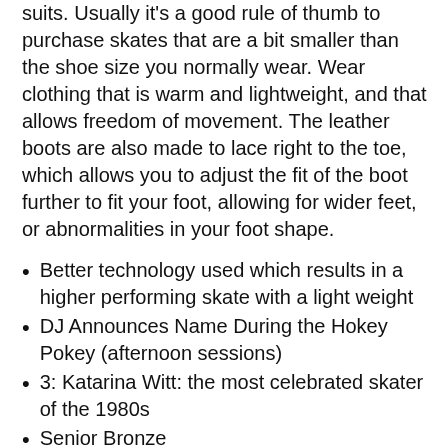suits. Usually it's a good rule of thumb to purchase skates that are a bit smaller than the shoe size you normally wear. Wear clothing that is warm and lightweight, and that allows freedom of movement. The leather boots are also made to lace right to the toe, which allows you to adjust the fit of the boot further to fit your foot, allowing for wider feet, or abnormalities in your foot shape.
Better technology used which results in a higher performing skate with a light weight
DJ Announces Name During the Hokey Pokey (afternoon sessions)
3: Katarina Witt: the most celebrated skater of the 1980s
Senior Bronze
They will allow you to upgrade the blades separately, if needed or desired